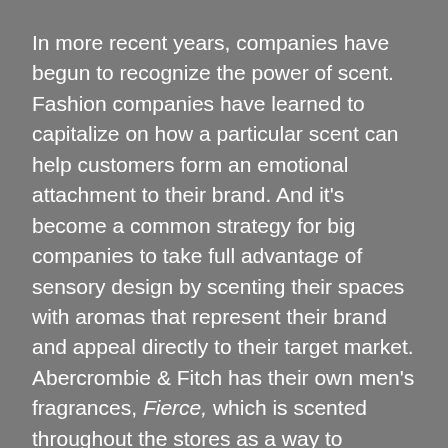In more recent years, companies have begun to recognize the power of scent. Fashion companies have learned to capitalize on how a particular scent can help customers form an emotional attachment to their brand. And it's become a common strategy for big companies to take full advantage of sensory design by scenting their spaces with aromas that represent their brand and appeal directly to their target market. Abercrombie & Fitch has their own men's fragrances, Fierce, which is scented throughout the stores as a way to support the company's character, giving off what they would describe as a confidence, bold and masculine lifestyle.
Eric Spangenberg, a consumer psychologist and academic found that once feminine scents like vanilla were released, women's sales doubled. Similar were the effects on men when more masculine smells were